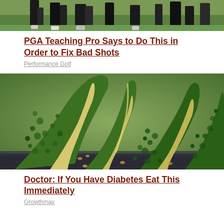[Figure (photo): Partial view of people playing golf on a green field, showing legs and golf bags]
PGA Teaching Pro Says to Do This in Order to Fix Bad Shots
Performance Golf
[Figure (photo): Close-up photo of bitter melon (bitter gourd) cut open showing interior, placed on a surface with blurred green background]
Doctor: If You Have Diabetes Eat This Immediately
Growthmax